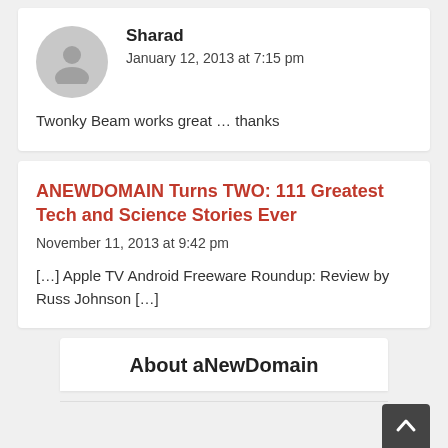Sharad
January 12, 2013 at 7:15 pm

Twonky Beam works great … thanks
ANEWDOMAIN Turns TWO: 111 Greatest Tech and Science Stories Ever
November 11, 2013 at 9:42 pm

[…] Apple TV Android Freeware Roundup: Review by Russ Johnson […]
About aNewDomain